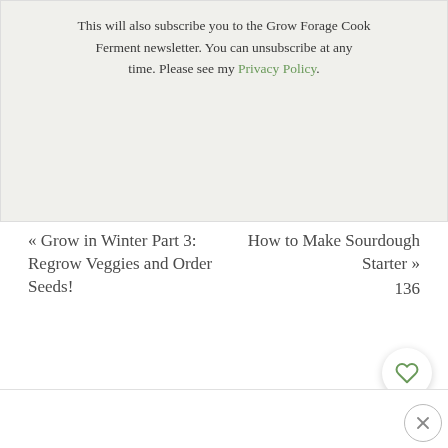This will also subscribe you to the Grow Forage Cook Ferment newsletter. You can unsubscribe at any time. Please see my Privacy Policy.
« Grow in Winter Part 3: Regrow Veggies and Order Seeds!
How to Make Sourdough Starter » 136
[Figure (other): Heart/favorite icon button (white circle with heart outline)]
[Figure (other): Search icon button (green circle with magnifying glass)]
[Figure (other): Close/dismiss button (white circle with X)]